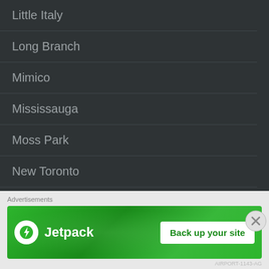Little Italy
Long Branch
Mimico
Mississauga
Moss Park
New Toronto
North Toronto
North York
O'Connor Parkview Hills
[Figure (screenshot): Jetpack advertisement banner with green background showing the Jetpack logo (lightning bolt in white circle) and text 'Jetpack' on the left, and a white button 'Back up your site' on the right. Above the banner is a label 'Advertisements'.]
Advertisements